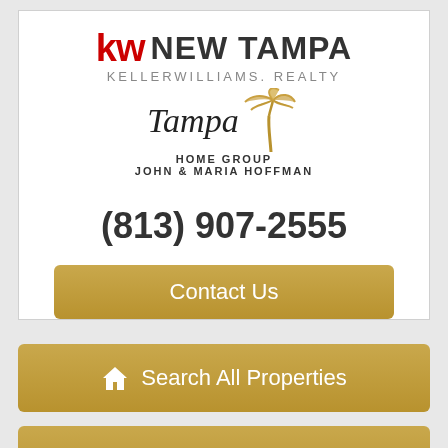[Figure (logo): KW New Tampa Keller Williams Realty logo with Tampa Home Group and John & Maria Hoffman branding, including palm tree graphic]
(813) 907-2555
Contact Us
Search All Properties
Share